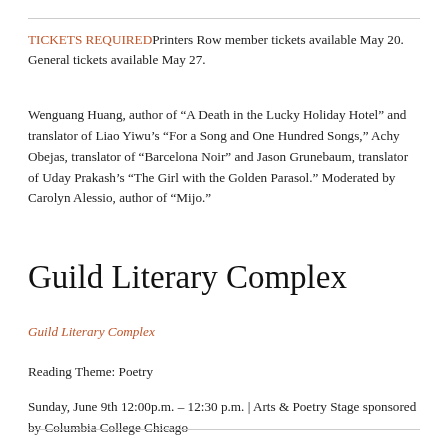TICKETS REQUIRED Printers Row member tickets available May 20. General tickets available May 27.
Wenguang Huang, author of “A Death in the Lucky Holiday Hotel” and translator of Liao Yiwu’s “For a Song and One Hundred Songs,” Achy Obejas, translator of “Barcelona Noir” and Jason Grunebaum, translator of Uday Prakash’s “The Girl with the Golden Parasol.” Moderated by Carolyn Alessio, author of “Mijo.”
Guild Literary Complex
Guild Literary Complex
Reading Theme: Poetry
Sunday, June 9th 12:00p.m. – 12:30 p.m. | Arts & Poetry Stage sponsored by Columbia College Chicago